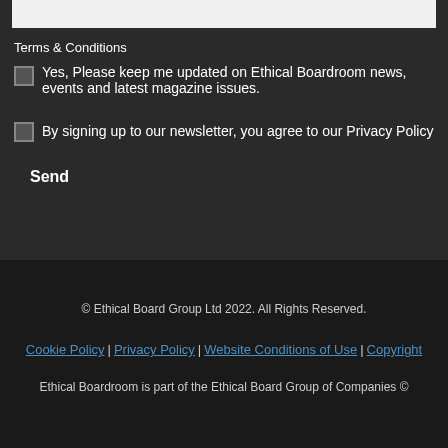Terms & Conditions
Yes, Please keep me updated on Ethical Boardroom news, events and latest magazine issues.
By signing up to our newsletter, you agree to our Privacy Policy
Send
© Ethical Board Group Ltd 2022. All Rights Reserved.
Cookie Policy | Privacy Policy | Website Conditions of Use | Copyright
Ethical Boardroom is part of the Ethical Board Group of Companies ©